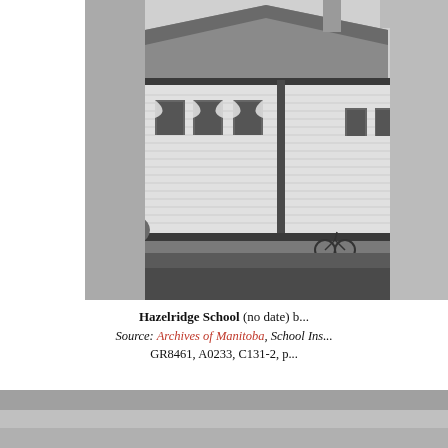[Figure (photo): Black and white historical photograph of Hazelridge School exterior, showing a white clapboard building with a hipped roof, multiple windows with draped curtains, a bicycle leaning against the building, and a woodpile to the left, with a grass lawn in the foreground.]
Hazelridge School (no date) b... Source: Archives of Manitoba, School Ins... GR8461, A0233, C131-2, p...
[Figure (photo): Partial black and white photograph visible at the bottom of the page, showing a grey/silver toned image, content mostly cut off.]